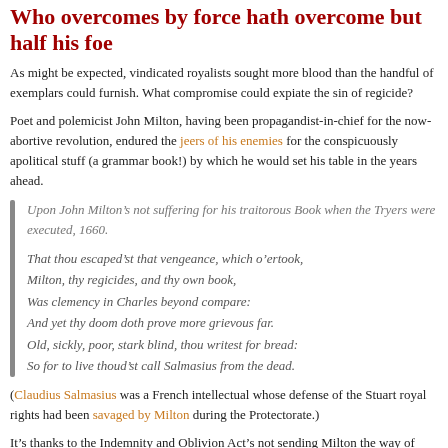Who overcomes by force hath overcome but half his foe
As might be expected, vindicated royalists sought more blood than the handful of exemplars could furnish. What compromise could expiate the sin of regicide?
Poet and polemicist John Milton, having been propagandist-in-chief for the now-abortive revolution, endured the jeers of his enemies for the conspicuously apolitical stuff (a grammar book!) by which he would set his table in the years ahead.
Upon John Milton’s not suffering for his traitorous Book when the Tryers were executed, 1660.

That thou escaped’st that vengeance, which o’ertook,
Milton, thy regicides, and thy own book,
Was clemency in Charles beyond compare:
And yet thy doom doth prove more grievous far.
Old, sickly, poor, stark blind, thou writest for bread:
So for to live thoud’st call Salmasius from the dead.
(Claudius Salmasius was a French intellectual whose defense of the Stuart royal rights had been savaged by Milton during the Protectorate.)
It’s thanks to the Indemnity and Oblivion Act’s not sending Milton the way of General Harrison that we have Paradise Lost.
On this day..
1998: Jeremy Vargas Sagastegui - 2020